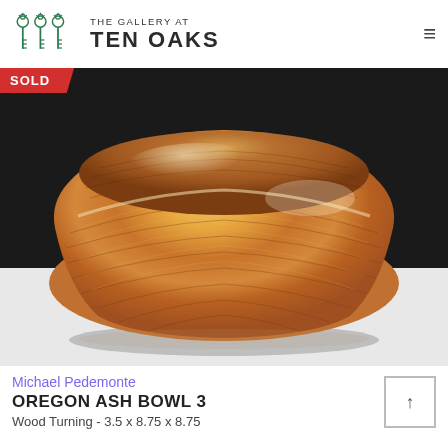[Figure (logo): The Gallery at Ten Oaks logo with three ornate key icons in green and dark text]
[Figure (photo): A turned wooden bowl made from Oregon Ash, showing beautiful wood grain patterns in warm golden-brown tones, photographed against a dark background on a light surface. A red 'SOLD' badge overlays the top-left corner.]
Michael Pedemonte
OREGON ASH BOWL 3
Wood Turning - 3.5 x 8.75 x 8.75